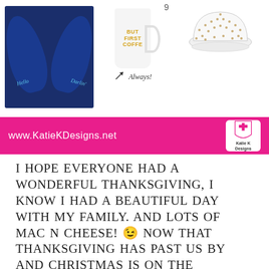[Figure (photo): Three product images: navy blue velvet flats with 'Hello Darlin' text, a white coffee mug with gold 'BUT FIRST COFFEE' text with 'Always!' script and arrow, and a white studded baseball cap. Number 9 appears near the mug area.]
[Figure (logo): Pink banner with www.KatieKDesigns.net URL in white text and KatieK Designs logo (white shield with cross and brand name) on the right.]
I HOPE EVERYONE HAD A WONDERFUL THANKSGIVING, I KNOW I HAD A BEAUTIFUL DAY WITH MY FAMILY. AND LOTS OF MAC N CHEESE! 😉 NOW THAT THANKSGIVING HAS PAST US BY AND CHRISTMAS IS ON THE HORIZON THE FAMOUS SHOPPING WEEKEND IS UPON US. IT'S FULL OF SALES, SURPRISES AND OPPORTUNITIES TO GET A JUMP